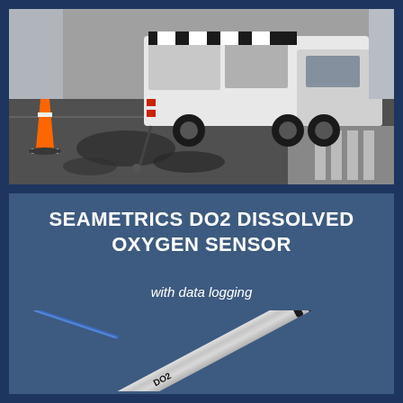[Figure (photo): Photograph of a white utility truck/vacuum truck with equipment on the back, parked on a street near a crosswalk. An orange traffic cone is visible on the left. The scene appears to be a road maintenance or sewer inspection operation.]
SEAMETRICS DO2 DISSOLVED OXYGEN SENSOR
with data logging
[Figure (photo): Close-up photograph of the Seametrics DO2 dissolved oxygen sensor — a cylindrical stainless steel probe with 'DO2' labeled on it, angled diagonally with a blue cable visible at the top.]